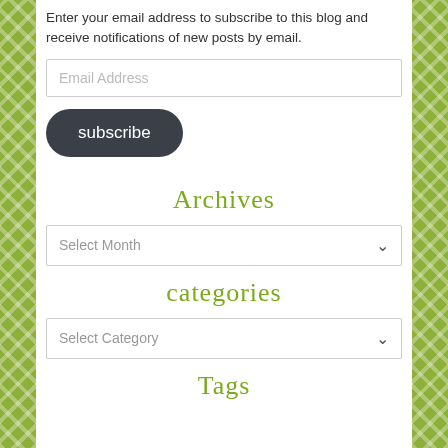Enter your email address to subscribe to this blog and receive notifications of new posts by email.
Archives
categories
Tags